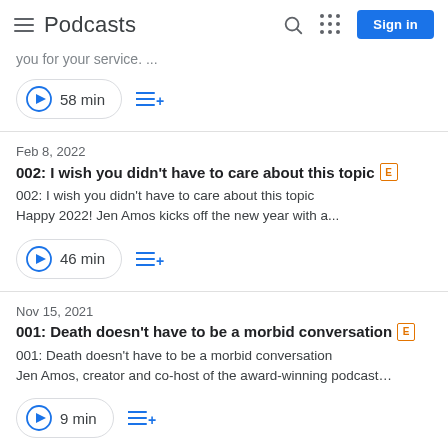Podcasts
you for your service. ...
58 min
Feb 8, 2022
002: I wish you didn't have to care about this topic [E]
002: I wish you didn't have to care about this topic Happy 2022! Jen Amos kicks off the new year with a...
46 min
Nov 15, 2021
001: Death doesn't have to be a morbid conversation [E]
001: Death doesn't have to be a morbid conversation Jen Amos, creator and co-host of the award-winning podcast...
9 min